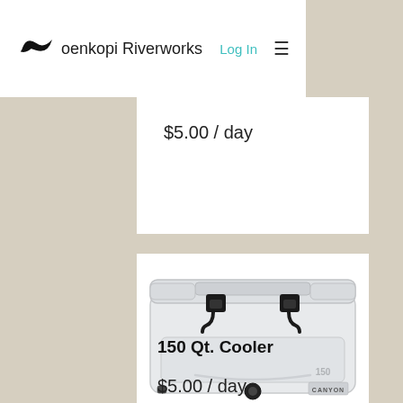Koenkopi Riverworks — Log In
$5.00 / day
[Figure (photo): A large white Canyon 150 Qt. cooler with black latches on top, front view]
150 Qt. Cooler
$5.00 / day